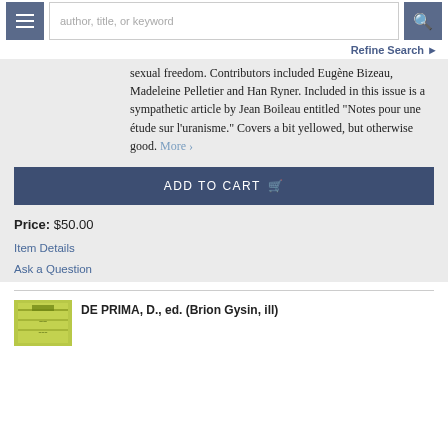author, title, or keyword — search bar with menu and search buttons
Refine Search ›
sexual freedom. Contributors included Eugène Bizeau, Madeleine Pelletier and Han Ryner. Included in this issue is a sympathetic article by Jean Boileau entitled "Notes pour une étude sur l'uranisme." Covers a bit yellowed, but otherwise good. More ›
ADD TO CART
Price: $50.00
Item Details
Ask a Question
DE PRIMA, D., ed. (Brion Gysin, ill)